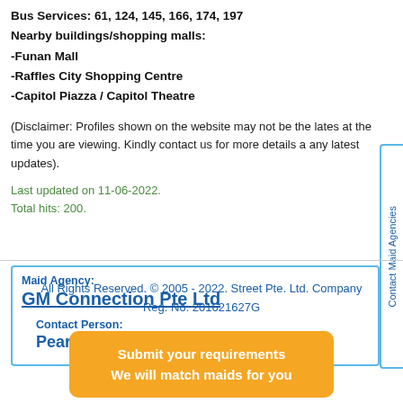Bus Services: 61, 124, 145, 166, 174, 197
Nearby buildings/shopping malls:
-Funan Mall
-Raffles City Shopping Centre
-Capitol Piazza / Capitol Theatre
(Disclaimer: Profiles shown on the website may not be the latest at the time you are viewing. Kindly contact us for more details and any latest updates).
Last updated on 11-06-2022.
Total hits: 200.
Maid Agency:
GM Connection Pte Ltd
Contact Person:
Pearlyn / Glendon
Contact Maid Agencies
All Rights Reserved. © 2005 - 2022. Street Pte. Ltd. Company Reg. No. 201621627G
Submit your requirements
We will match maids for you